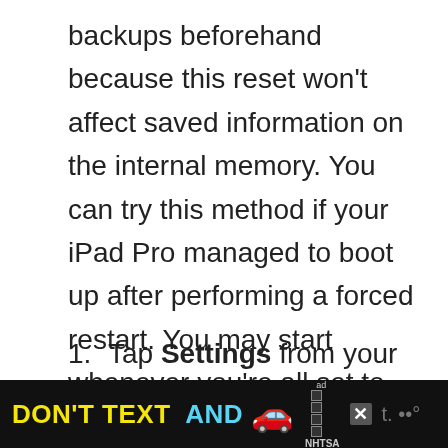backups beforehand because this reset won't affect saved information on the internal memory. You can try this method if your iPad Pro managed to boot up after performing a forced restart. You may start whenever you're all set to reset all settings on your iPad Pro:
1. Tap Settings from your Home screen.
2. Tap General.
[Figure (other): Advertisement banner at bottom: 'DON'T TEXT AND' with car emoji, ad badge, NHTSA logo, close button, and partial text on black background.]